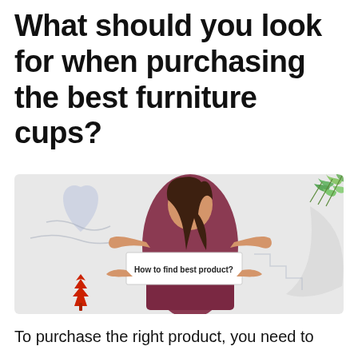What should you look for when purchasing the best furniture cups?
[Figure (photo): A smiling young woman with long dark hair, wearing a dark red/maroon sweater, posing with both hands open as if presenting something. She holds a white card that reads 'How to find best product?' The background is a light gray with decorative elements: a blue heart shape on the left, green leaves in the top right, a red maple leaf in the bottom left, and palm-like fronds at the bottom.]
To purchase the right product, you need to